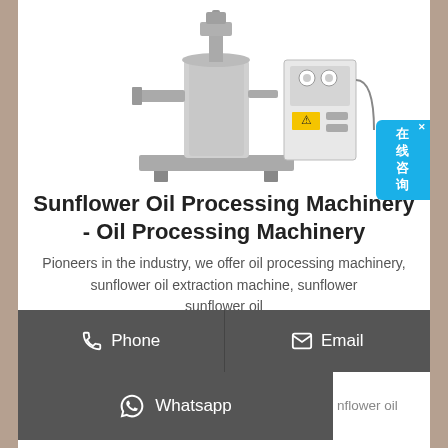[Figure (photo): Industrial oil press / sunflower oil processing machine — stainless steel cylindrical body with control panel, photographed on white background]
[Figure (other): Blue chat widget badge with Chinese characters 在线咨询 (online consultation) with close X button]
Sunflower Oil Processing Machinery - Oil Processing Machinery
Pioneers in the industry, we offer oil processing machinery, sunflower oil extraction machine, sunflower sunflower oil machine from India. Request Callback Get Best Quote
Phone
Email
Whatsapp